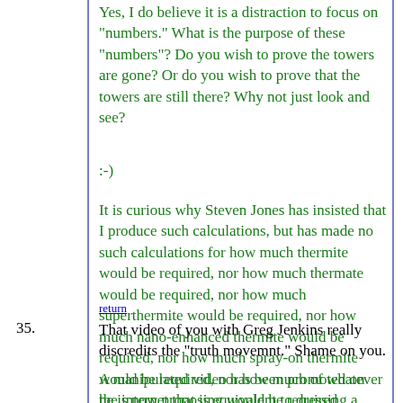Yes, I do believe it is a distraction to focus on "numbers." What is the purpose of these "numbers"? Do you wish to prove the towers are gone? Or do you wish to prove that the towers are still there? Why not just look and see?
:-)
It is curious why Steven Jones has insisted that I produce such calculations, but has made no such calculations for how much thermite would be required, nor how much thermate would be required, nor how much superthermite would be required, nor how much nano-enhanced thermite would be required, nor how much spray-on thermite would be required, nor how much of whatever he is now proposing would be required.
return
35. That video of you with Greg Jenkins really discredits the "truth movemnt." Shame on you.
A manipulated video has been promoted on the internet that is equivalent to dressing a...